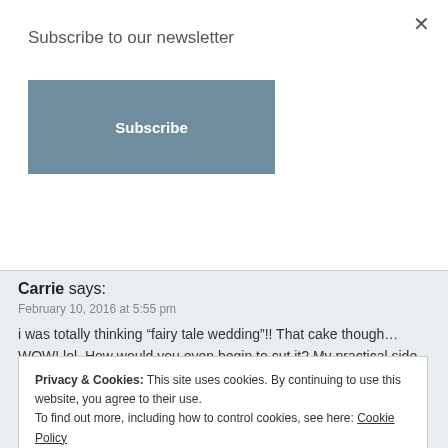Subscribe to our newsletter
Subscribe
Carrie says:
February 10, 2016 at 5:55 pm
i was totally thinking “fairy tale wedding”!! That cake though… WOW! lol. How would you even begin to cut it? My practical side wars with my fairy tale side constantly 😉 I love Wedding Wednesdays 😀
★ Like
Privacy & Cookies: This site uses cookies. By continuing to use this website, you agree to their use.
To find out more, including how to control cookies, see here: Cookie Policy
Close and accept
LOL!! Isn’t that cake jaw-dropping?!?! I tell you, the